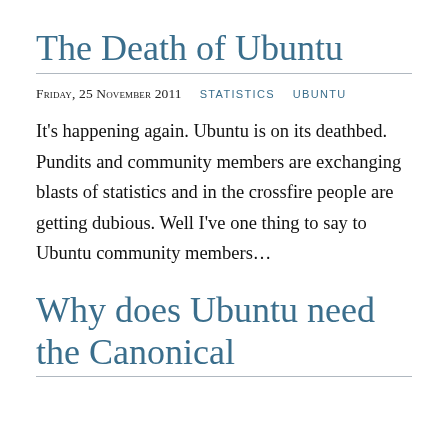The Death of Ubuntu
Friday, 25 November 2011   STATISTICS   UBUNTU
It’s happening again. Ubuntu is on its deathbed. Pundits and community members are exchanging blasts of statistics and in the crossfire people are getting dubious. Well I’ve one thing to say to Ubuntu community members…
Why does Ubuntu need the Canonical